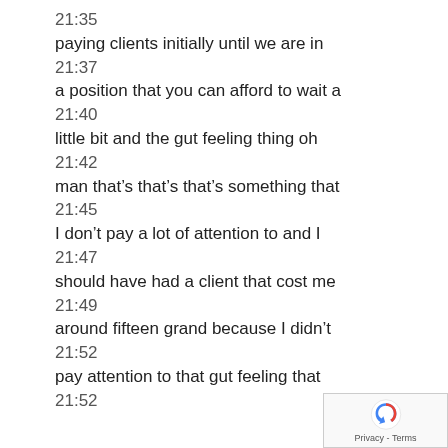21:35
paying clients initially until we are in
21:37
a position that you can afford to wait a
21:40
little bit and the gut feeling thing oh
21:42
man that's that's that's something that
21:45
I don't pay a lot of attention to and I
21:47
should have had a client that cost me
21:49
around fifteen grand because I didn't
21:52
pay attention to that gut feeling that
21:52